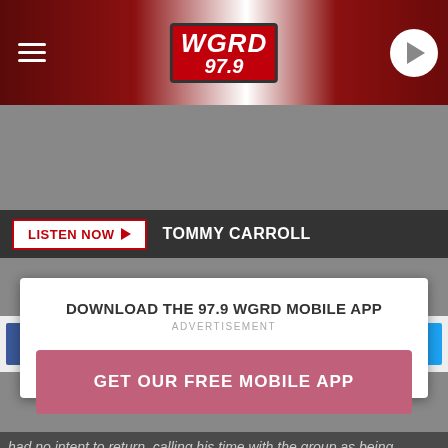[Figure (logo): WGRD 97.9 radio station header with logo, hamburger menu, and play button on dark red gradient background]
LISTEN NOW  TOMMY CARROLL
[Figure (infographic): Facebook Share and Twitter Tweet buttons]
had no intent to return, calling his time with the group as being "emotionally triggering."
DOWNLOAD THE 97.9 WGRD MOBILE APP
ADVERTISEMENT
GET OUR FREE MOBILE APP